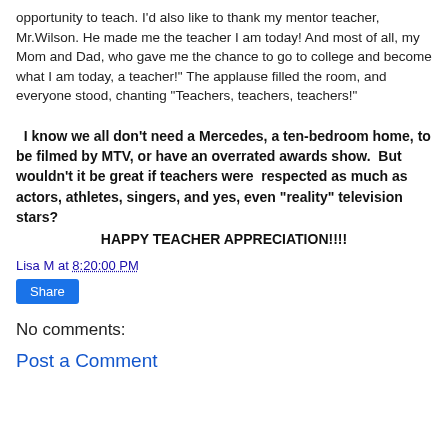opportunity to teach. I'd also like to thank my mentor teacher, Mr.Wilson. He made me the teacher I am today! And most of all, my Mom and Dad, who gave me the chance to go to college and become what I am today, a teacher!" The applause filled the room, and everyone stood, chanting "Teachers, teachers, teachers!"
I know we all don't need a Mercedes, a ten-bedroom home, to be filmed by MTV, or have an overrated awards show.  But wouldn't it be great if teachers were  respected as much as actors, athletes, singers, and yes, even "reality" television stars?
HAPPY TEACHER APPRECIATION!!!!
Lisa M at 8:20:00 PM
Share
No comments:
Post a Comment